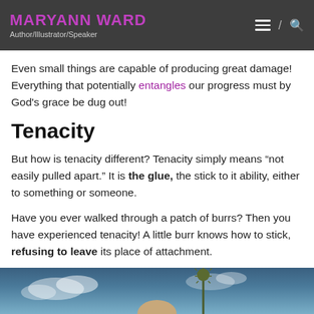MARYANN WARD / Author/Illustrator/Speaker
Even small things are capable of producing great damage! Everything that potentially entangles our progress must by God's grace be dug out!
Tenacity
But how is tenacity different? Tenacity simply means “not easily pulled apart.” It is the glue, the stick to it ability, either to something or someone.
Have you ever walked through a patch of burrs? Then you have experienced tenacity! A little burr knows how to stick, refusing to leave its place of attachment.
[Figure (photo): Blue sky with clouds and a plant/burr in foreground, partially cropped at page bottom]